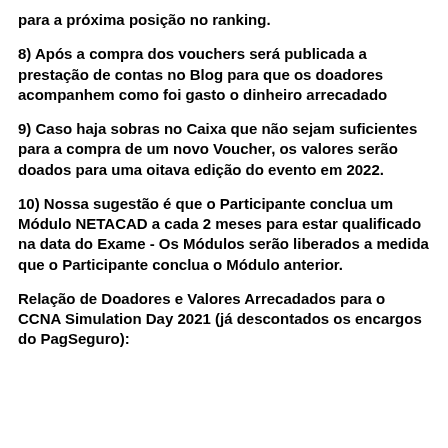para a próxima posição no ranking.
8) Após a compra dos vouchers será publicada a prestação de contas no Blog para que os doadores acompanhem como foi gasto o dinheiro arrecadado
9) Caso haja sobras no Caixa que não sejam suficientes para a compra de um novo Voucher, os valores serão doados para uma oitava edição do evento em 2022.
10) Nossa sugestão é que o Participante conclua um Módulo NETACAD a cada 2 meses para estar qualificado na data do Exame - Os Módulos serão liberados a medida que o Participante conclua o Módulo anterior.
Relação de Doadores e Valores Arrecadados para o CCNA Simulation Day 2021 (já descontados os encargos do PagSeguro):